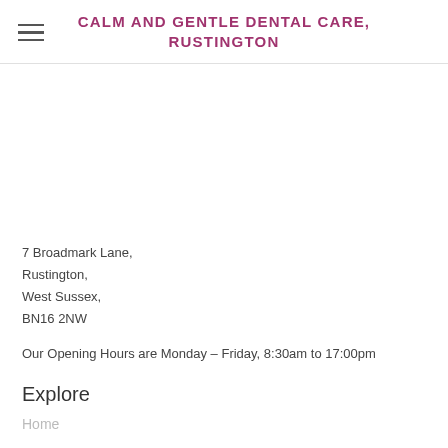CALM AND GENTLE DENTAL CARE, RUSTINGTON
7 Broadmark Lane,
Rustington,
West Sussex,
BN16 2NW
Our Opening Hours are Monday – Friday, 8:30am to 17:00pm
Explore
Home